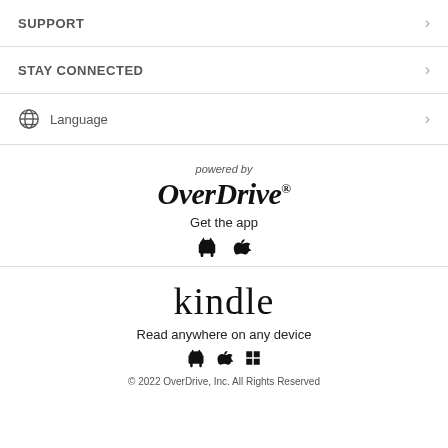SUPPORT
STAY CONNECTED
Language
[Figure (logo): OverDrive logo with 'powered by' text above and 'Get the app' text with Android and Apple icons below]
[Figure (logo): Kindle logo with 'Read anywhere on any device' text and Android, Apple, Windows icons below]
© 2022 OverDrive, Inc. All Rights Reserved